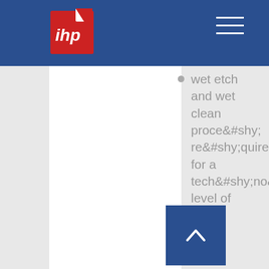[Figure (logo): IHP logo - red square with white 'ihp' handwritten text and white flag/document icon]
wet etch and wet clean proce requirements for a technological level of